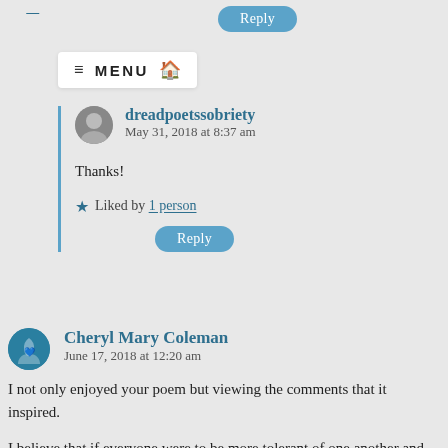Reply (button, top)
≡ MENU 🏠
dreadpoetssobriety
May 31, 2018 at 8:37 am
Thanks!
★ Liked by 1 person
Reply (button)
Cheryl Mary Coleman
June 17, 2018 at 12:20 am
I not only enjoyed your poem but viewing the comments that it inspired.
I believe that if everyone were to be more tolerant of one another and the past actions of others (knowing they are in the past) and look to how we can individually be the change that we would wish to see